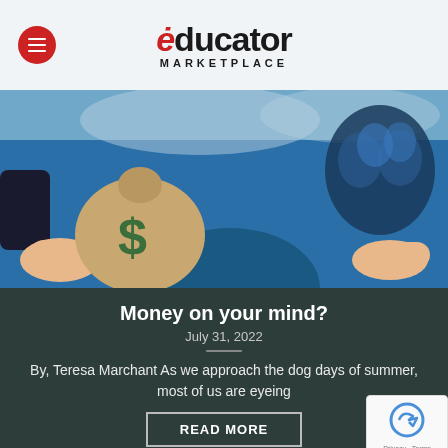educator MARKETPLACE
[Figure (illustration): Illustration showing a hand holding a money bag with a dollar sign symbol on the left, and a brain/lightbulb graphic on the right, against a teal/blue background.]
Money on your mind?
July 31, 2022
By, Teresa Marchant As we approach the dog days of summer, most of us are eyeing
READ MORE